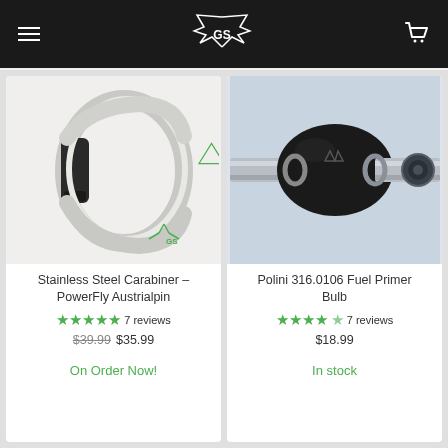[Figure (screenshot): E-commerce website header with dark background, hamburger menu icon on left, winged logo in center, shopping cart icon on right]
[Figure (photo): Stainless steel carabiner product photo with brand logo watermark on white background]
Stainless Steel Carabiner – PowerFly Austrialpin
7 reviews
$39.99  $35.99
On Order Now!
[Figure (photo): Polini fuel primer bulb product photo on light blue background]
Polini 316.0106 Fuel Primer Bulb
7 reviews
$18.99
In stock